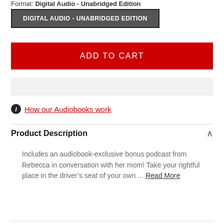Format: Digital Audio - Unabridged Edition
DIGITAL AUDIO - UNABRIDGED EDITION
ADD TO CART
How our Audiobooks work
Product Description
Includes an audiobook-exclusive bonus podcast from Rebecca in conversation with her mom! Take your rightful place in the driver’s seat of your own ... Read More